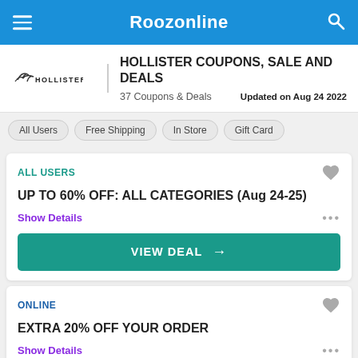Roozonline
HOLLISTER COUPONS, SALE AND DEALS
37 Coupons & Deals    Updated on Aug 24 2022
All Users
Free Shipping
In Store
Gift Card
ALL USERS
UP TO 60% OFF: ALL CATEGORIES (Aug 24-25)
Show Details
VIEW DEAL →
ONLINE
EXTRA 20% OFF YOUR ORDER
Show Details
VIEW CODE